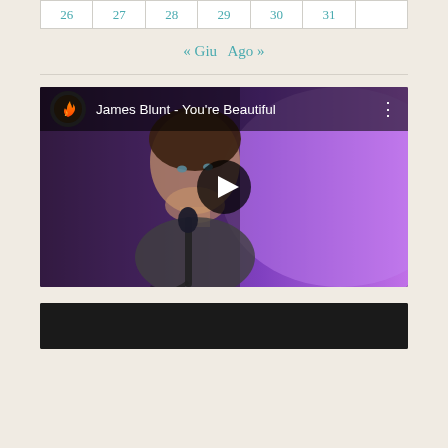| 26 | 27 | 28 | 29 | 30 | 31 |  |
| --- | --- | --- | --- | --- | --- | --- |
« Giu   Ago »
[Figure (screenshot): YouTube video thumbnail showing James Blunt - You're Beautiful, with a man singing at a microphone against a purple background, with a play button overlay and video title bar at top.]
[Figure (screenshot): Bottom portion of a second video thumbnail with dark/black background, partially visible.]